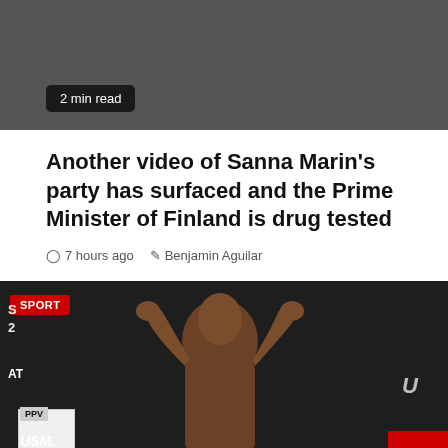[Figure (photo): Dark gray banner area at top of page with a '2 min read' badge in bottom-left]
2 min read
Another video of Sanna Marin's party has surfaced and the Prime Minister of Finland is drug tested
7 hours ago   Benjamin Aguilar
[Figure (photo): Photo of a muscular Black male MMA fighter (Usman vs Edwards UFC event) posing with arms raised against a dark background, with a red SPORT badge in top-left corner, UFC branding on right, USM./EDWAR. text at bottom, PPV badge, and a red scroll-to-top button in the bottom-right corner.]